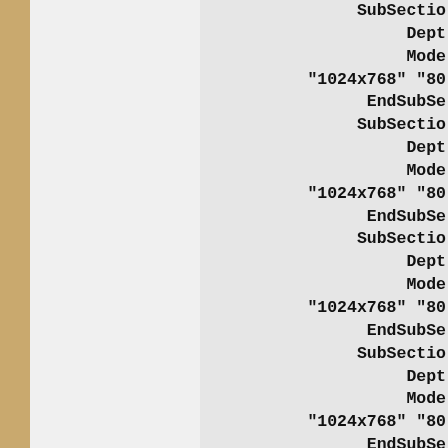SubSectio
    Dept
    Mode
"1024x768" "80
EndSubSe
SubSectio
    Dept
    Mode
"1024x768" "80
EndSubSe
SubSectio
    Dept
    Mode
"1024x768" "80
EndSubSe
SubSectio
    Dept
    Mode
"1024x768" "80
EndSubSe
SubSectio
    Modes
"1024x768" "80
EndSubS